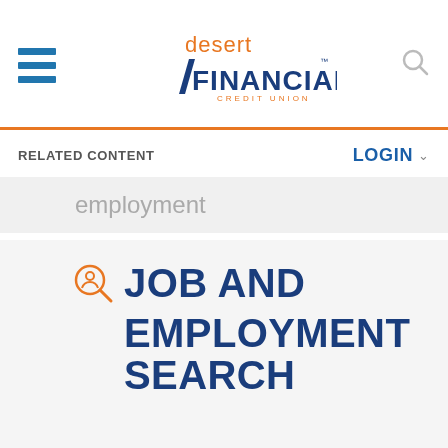[Figure (logo): Desert Financial Credit Union logo with hamburger menu icon and search icon in website header]
RELATED CONTENT
LOGIN
employment
JOB AND EMPLOYMENT SEARCH